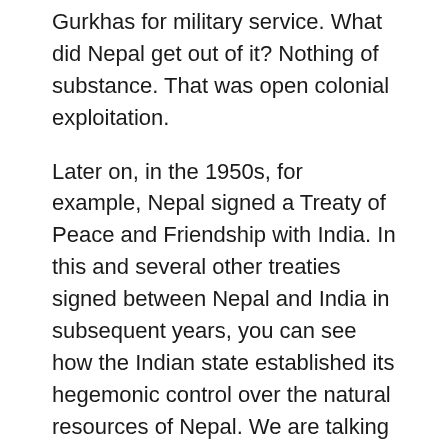Gurkhas for military service. What did Nepal get out of it? Nothing of substance. That was open colonial exploitation.
Later on, in the 1950s, for example, Nepal signed a Treaty of Peace and Friendship with India. In this and several other treaties signed between Nepal and India in subsequent years, you can see how the Indian state established its hegemonic control over the natural resources of Nepal. We are talking about the ruling classes in India. I have nothing against the ordinary people of India, who are also exploited by their political masters. But that is a different matter altogether.
The most significant natural resource of Nepal is its water resources. Nepal signed the Koshi